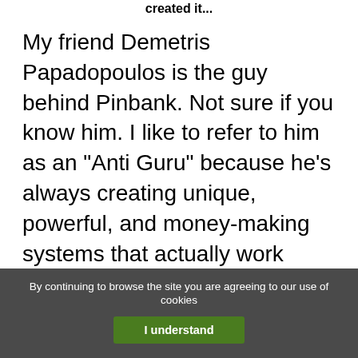created it...
My friend Demetris Papadopoulos is the guy behind Pinbank. Not sure if you know him. I like to refer to him as an "Anti Guru" because he's always creating unique, powerful, and money-making systems that actually work (unlike the unscrupulous GURUS who sell sh*t just to make money).   And Pinbank is Demetris newest creation. I shouldn't say it's brand-new, because they've had it for a while. But Demetris
By continuing to browse the site you are agreeing to our use of cookies
I understand